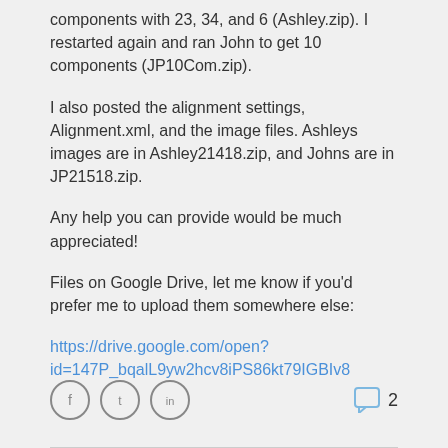components with 23, 34, and 6 (Ashley.zip). I restarted again and ran John to get 10 components (JP10Com.zip).
I also posted the alignment settings, Alignment.xml, and the image files. Ashleys images are in Ashley21418.zip, and Johns are in JP21518.zip.
Any help you can provide would be much appreciated!
Files on Google Drive, let me know if you'd prefer me to upload them somewhere else:
https://drive.google.com/open?id=147P_bqalL9yw2hcv8iPS86kt79IGBIv8
[Figure (infographic): Social sharing icons (Facebook, Twitter, LinkedIn) and a comment icon with count 2]